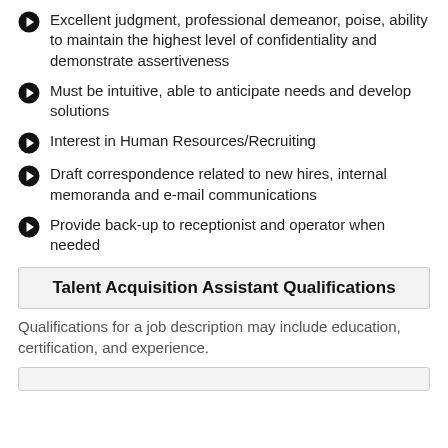Excellent judgment, professional demeanor, poise, ability to maintain the highest level of confidentiality and demonstrate assertiveness
Must be intuitive, able to anticipate needs and develop solutions
Interest in Human Resources/Recruiting
Draft correspondence related to new hires, internal memoranda and e-mail communications
Provide back-up to receptionist and operator when needed
Talent Acquisition Assistant Qualifications
Qualifications for a job description may include education, certification, and experience.